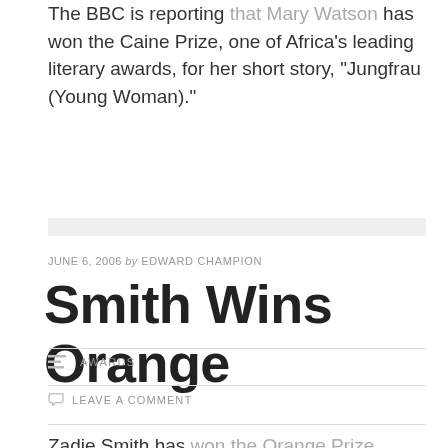The BBC is reporting that Mary Watson has won the Caine Prize, one of Africa's leading literary awards, for her short story, “Jungfrau (Young Woman).”
JUNE 6, 2006 by EDWARD CHAMPION
Smith Wins Orange
AWARDS
LEAVE A COMMENT
Zadie Smith has won the Orange Prize.